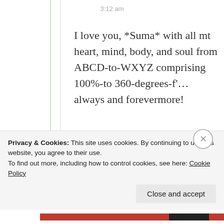3:12 am
I love you, *Suma* with all mt heart, mind, body, and soul from ABCD-to-WXYZ comprising 100%-to 360-degrees-f'… always and forevermore!
★ Liked by 3 people
Privacy & Cookies: This site uses cookies. By continuing to use this website, you agree to their use.
To find out more, including how to control cookies, see here: Cookie Policy
Close and accept